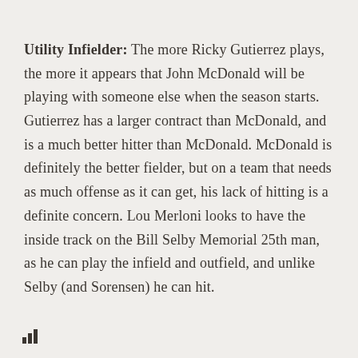Utility Infielder: The more Ricky Gutierrez plays, the more it appears that John McDonald will be playing with someone else when the season starts. Gutierrez has a larger contract than McDonald, and is a much better hitter than McDonald. McDonald is definitely the better fielder, but on a team that needs as much offense as it can get, his lack of hitting is a definite concern. Lou Merloni looks to have the inside track on the Bill Selby Memorial 25th man, as he can play the infield and outfield, and unlike Selby (and Sorensen) he can hit.